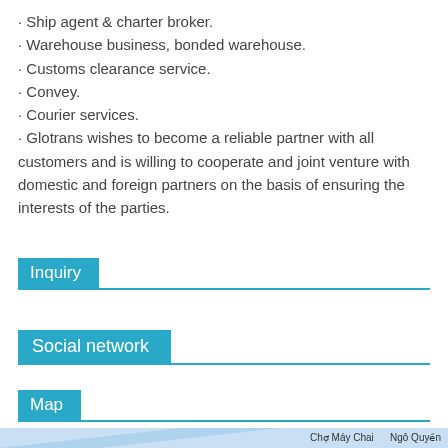· Ship agent & charter broker.
· Warehouse business, bonded warehouse.
· Customs clearance service.
· Convey.
· Courier services.
· Glotrans wishes to become a reliable partner with all customers and is willing to cooperate and joint venture with domestic and foreign partners on the basis of ensuring the interests of the parties.
Inquiry
Social network
Map
[Figure (map): Partial map showing Chợ Máy Chai area and Ngô Quyền street]